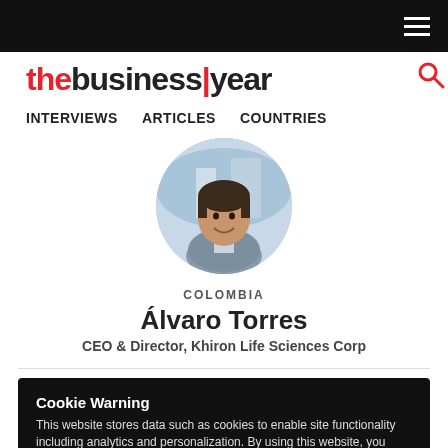thebusinessyear
INTERVIEWS   ARTICLES   COUNTRIES
[Figure (photo): Circular profile photo of Álvaro Torres, a man in a grey suit smiling]
COLOMBIA
Álvaro Torres
CEO & Director, Khiron Life Sciences Corp
Cookie Warning
This website stores data such as cookies to enable site functionality including analytics and personalization. By using this website, you automatically accept that we use cookies.
BIO